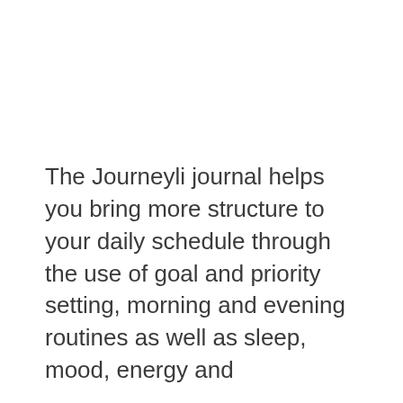The Journeyli journal helps you bring more structure to your daily schedule through the use of goal and priority setting, morning and evening routines as well as sleep, mood, energy and